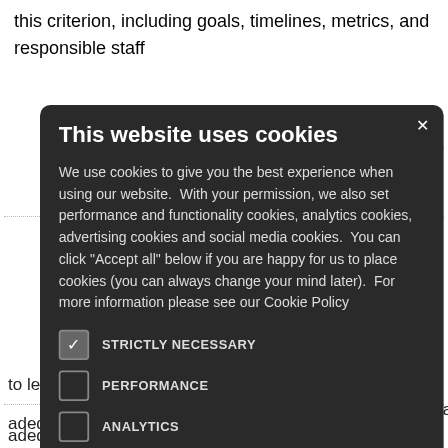this criterion, including goals, timelines, metrics, and responsible staff
streaming into its
stainability (procurement, egal, etc) with company ves
ainability p within each
[Figure (screenshot): Cookie consent modal dialog with dark background. Title: 'This website uses cookies'. Body text explaining cookie usage. Options: STRICTLY NECESSARY (checked), PERFORMANCE (unchecked), ANALYTICS (unchecked), FUNCTIONALITY (unchecked), SOCIAL MEDIA (unchecked). Close button (X) in top right corner.]
to leverage eas and to deal adequately with trade-offs